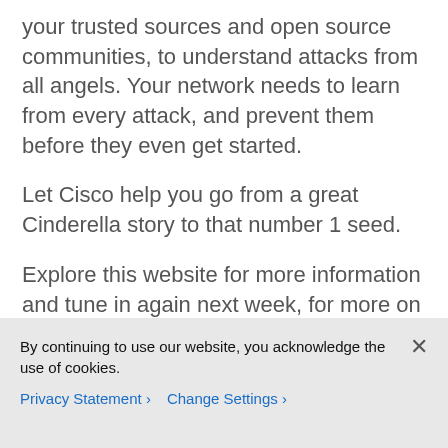your trusted sources and open source communities, to understand attacks from all angels.  Your network needs to learn from every attack, and prevent them before they even get started.
Let Cisco help you go from a great Cinderella story to that number 1 seed.
Explore this website for more information and tune in again next week, for more on Cisco's security for Financial Services, I can't wait to watch this weeks games!  Talk to you all next week
By continuing to use our website, you acknowledge the use of cookies.
Privacy Statement > Change Settings >